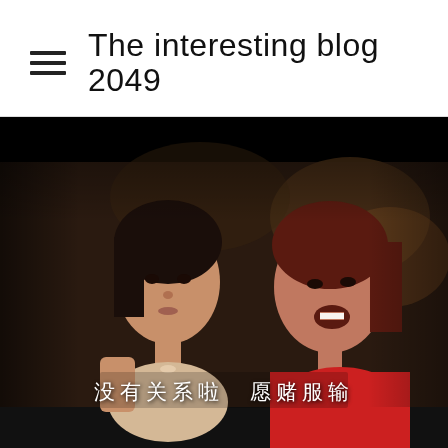The interesting blog 2049
[Figure (screenshot): Screenshot of a movie scene showing two women in a dimly lit setting. A subtitle in Chinese reads: 没有关系啦 愿赌服输]
没有关系啦 愿赌服输